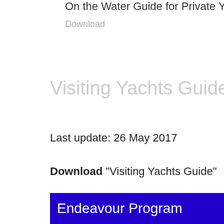On the Water Guide for Private Yachts
Download
Visiting Yachts Guide
Last update: 26 May 2017
Download "Visiting Yachts Guide"
More info
Endeavour Program